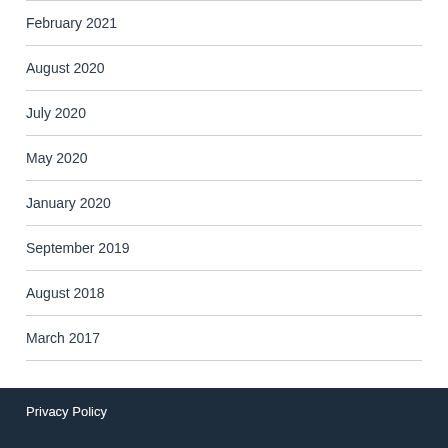February 2021
August 2020
July 2020
May 2020
January 2020
September 2019
August 2018
March 2017
Privacy Policy